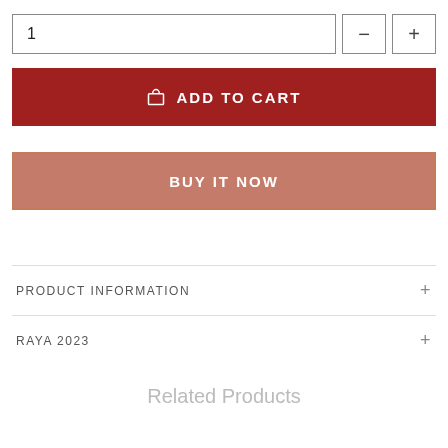1
ADD TO CART
BUY IT NOW
PRODUCT INFORMATION
RAYA 2023
Related Products